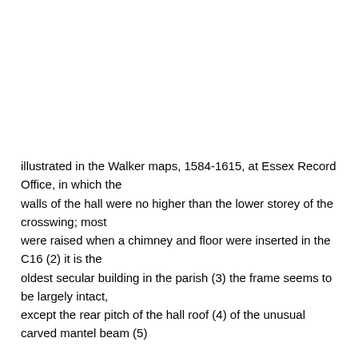illustrated in the Walker maps, 1584-1615, at Essex Record Office, in which the walls of the hall were no higher than the lower storey of the crosswing; most were raised when a chimney and floor were inserted in the C16 (2) it is the oldest secular building in the parish (3) the frame seems to be largely intact, except the rear pitch of the hall roof (4) of the unusual carved mantel beam (5)